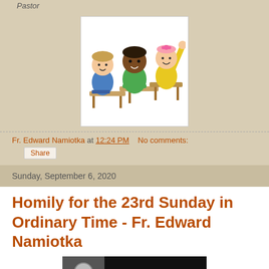Pastor
[Figure (illustration): Cartoon illustration of three children sitting at school desks, one raising hand, diverse group, colorful clothing]
Fr. Edward Namiotka at 12:24 PM   No comments:
Share
Sunday, September 6, 2020
Homily for the 23rd Sunday in Ordinary Time - Fr. Edward Namiotka
[Figure (screenshot): Video thumbnail showing Fr. Edward Namiotka, text overlay reads: Homily for the 23r...]